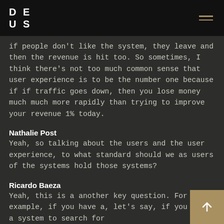D E
U S
if people don't like the system, they leave and then the revenue is hit too. So sometimes, I think there's not too much common sense that user experience is to be the number one because if if traffic goes down, then you lose money much much more rapidly than trying to improve your revenue 1% today.
Nathalie Post
Yeah, so talking about the users and the user experience, to what standard should we as users of the systems hold those systems?
Ricardo Baeza
Yeah, this is a another key question. For example, if you have a, let's say, if you have a system to search for